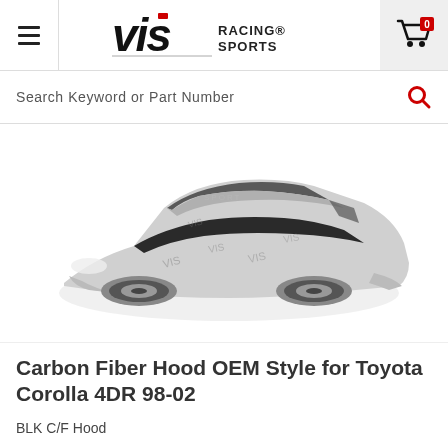VIS Racing Sports — navigation header with hamburger menu and cart
Search Keyword or Part Number
[Figure (photo): Black and white photo of a Toyota Corolla 4DR sedan with carbon fiber hood and body kit, watermarked with VIS Racing Sports logos]
Carbon Fiber Hood OEM Style for Toyota Corolla 4DR 98-02
BLK C/F Hood